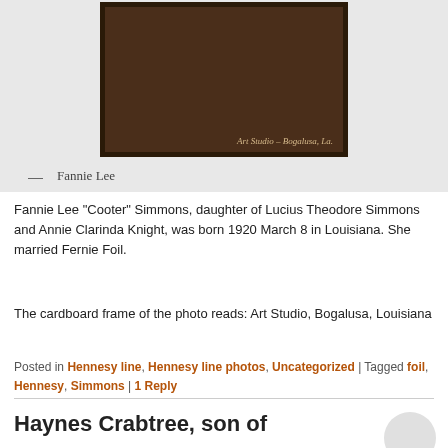[Figure (photo): Old portrait photograph of Fannie Lee in dark clothing with white collar, mounted in cardboard frame reading 'Art Studio, Bogalusa, La.']
— Fannie Lee
Fannie Lee “Cooter” Simmons, daughter of Lucius Theodore Simmons and Annie Clarinda Knight, was born 1920 March 8 in Louisiana. She married Fernie Foil.
The cardboard frame of the photo reads: Art Studio, Bogalusa, Louisiana
Posted in Hennesy line, Hennesy line photos, Uncategorized | Tagged foil, Hennesy, Simmons | 1 Reply
Haynes Crabtree, son of